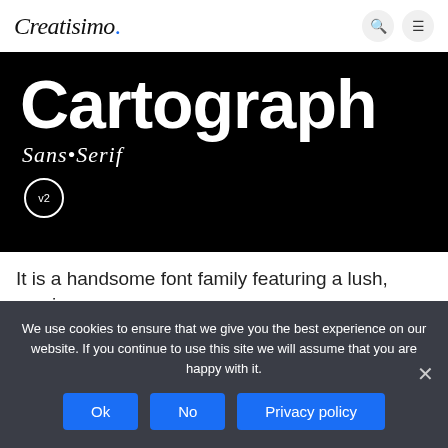Creatisimo.
[Figure (illustration): Black background hero image showing 'Cartograph' in large bold white sans-serif text, with 'Sans•Serif' in white italic below, and a circled 'v2' badge beneath that.]
It is a handsome font family featuring a lush, cursive italic, code-friendly ligatures, and a proportional set
We use cookies to ensure that we give you the best experience on our website. If you continue to use this site we will assume that you are happy with it.